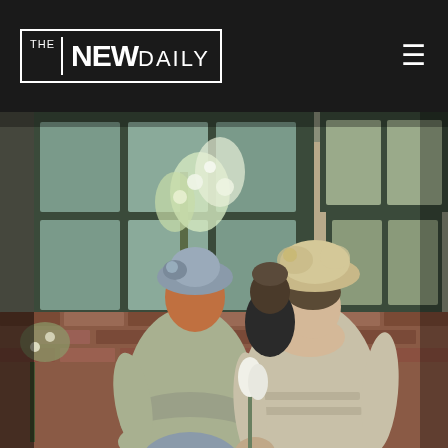[Figure (logo): The New Daily newspaper logo — white text on dark background with border box]
[Figure (photo): Two women in vintage early 20th century costume dresses and decorative hats holding hands, standing in front of large windows with floral arrangements and brick wall backdrop. Period drama scene.]